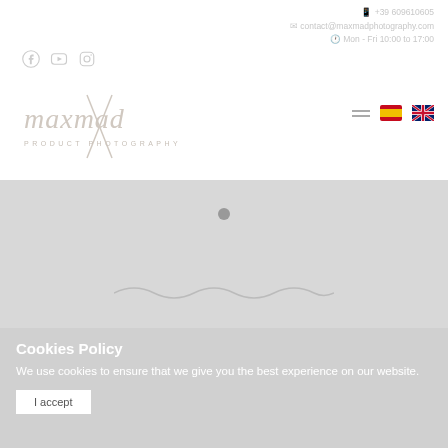+39 609610605 | contact@maxmadphotography.com | Mon - Fri 10:00 to 17:00
[Figure (logo): maxmad PRODUCT PHOTOGRAPHY script logo with X cross element]
[Figure (illustration): Social media icons: Facebook, YouTube, Instagram]
[Figure (illustration): Navigation hamburger menu and Spanish/UK flag language selectors]
[Figure (illustration): Grey hero banner area with dot and wave decoration]
Cookies Policy
We use cookies to ensure that we give you the best experience on our website.